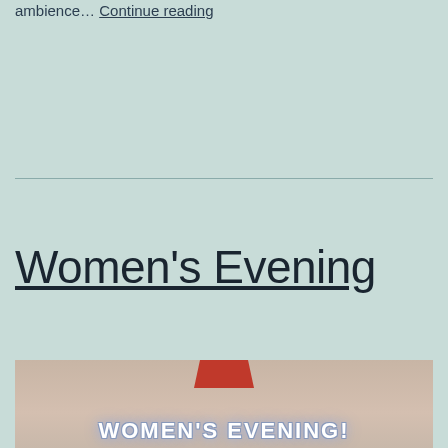ambience… Continue reading
Women's Evening
[Figure (photo): Promotional image for Women's Evening event with red chevron shape at top and stylized text 'WOMEN'S EVENING!' in white with blue glow on a beige/tan background]